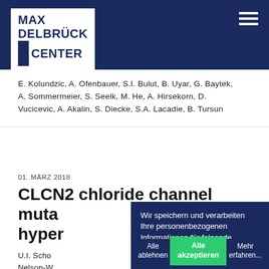[Figure (logo): Max Delbrück Center logo — white box with navy text on dark navy header bar, with hamburger menu icon top right]
E. Kolundzic, A. Ofenbauer, S.I. Bulut, B. Uyar, G. Baytek, A. Sommermeier, S. Seelk, M. He, A. Hirsekorn, D. Vucicevic, A. Akalin, S. Diecke, S.A. Lacadie, B. Tursun
01. MÄRZ 2018
CLCN2 chloride channel muta… hype…
U.I. Scho… Nelson-W… T. Yoo, J.… Rump, A.… D.P. Jone…
Wir speichern und verarbeiten Ihre personenbezogenen Informationen für folgende Zwecke: CMS, Benutzerstatistiken.
Alle ablehnen
Alle akzeptieren
Mehr erfahren...